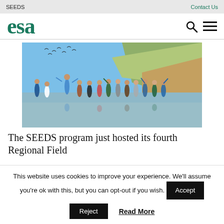SEEDS    Contact Us
[Figure (logo): ESA logo in green serif font]
[Figure (photo): Group of young people jumping and celebrating on a beach with cliffs in the background]
The SEEDS program just hosted its fourth Regional Field
This website uses cookies to improve your experience. We'll assume you're ok with this, but you can opt-out if you wish.
Accept  Reject  Read More